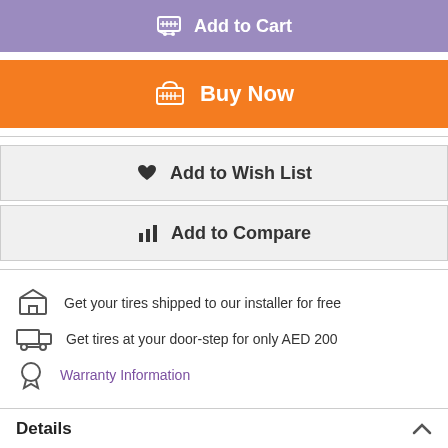[Figure (screenshot): Add to Cart button with purple/lavender background and cart icon]
[Figure (screenshot): Buy Now button with orange background and basket icon]
[Figure (screenshot): Add to Wish List button with light gray background and heart icon]
[Figure (screenshot): Add to Compare button with light gray background and bar chart icon]
Get your tires shipped to our installer for free
Get tires at your door-step for only AED 200
Warranty Information
Details